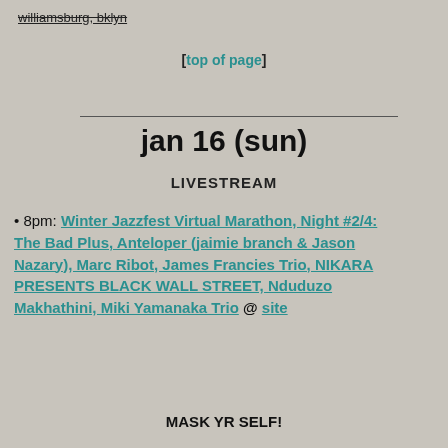williamsburg, bklyn (strikethrough)
[top of page]
jan 16 (sun)
LIVESTREAM
• 8pm: Winter Jazzfest Virtual Marathon, Night #2/4: The Bad Plus, Anteloper (jaimie branch & Jason Nazary), Marc Ribot, James Francies Trio, NIKARA PRESENTS BLACK WALL STREET, Nduduzo Makhathini, Miki Yamanaka Trio @ site
MASK YR SELF!